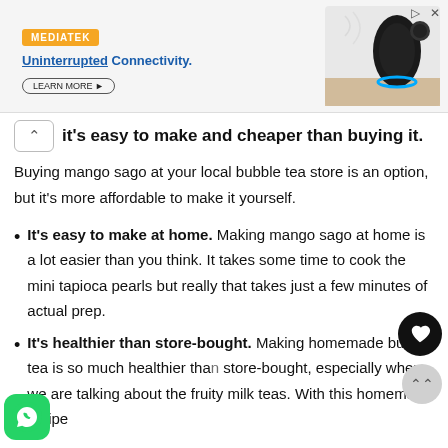[Figure (screenshot): MediaTek advertisement banner showing 'Uninterrupted Connectivity.' with a speaker/smart device image and a LEARN MORE button]
it's easy to make and cheaper than buying it.
Buying mango sago at your local bubble tea store is an option, but it's more affordable to make it yourself.
It's easy to make at home. Making mango sago at home is a lot easier than you think. It takes some time to cook the mini tapioca pearls but really that takes just a few minutes of actual prep.
It's healthier than store-bought. Making homemade bubble tea is so much healthier than store-bought, especially when we are talking about the fruity milk teas. With this homemade recipe